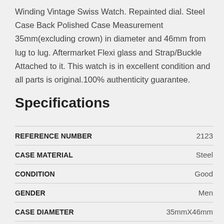Winding Vintage Swiss Watch. Repainted dial. Steel Case Back Polished Case Measurement 35mm(excluding crown) in diameter and 46mm from lug to lug. Aftermarket Flexi glass and Strap/Buckle Attached to it. This watch is in excellent condition and all parts is original.100% authenticity guarantee.
Specifications
| Specification | Value |
| --- | --- |
| REFERENCE NUMBER | 2123 |
| CASE MATERIAL | Steel |
| CONDITION | Good |
| GENDER | Men |
| CASE DIAMETER | 35mmX46mm |
| NUMBER OF JEWELS | 16 |